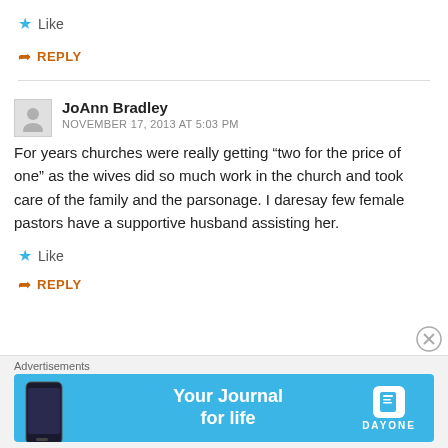Like
REPLY
JoAnn Bradley
NOVEMBER 17, 2013 AT 5:03 PM
For years churches were really getting “two for the price of one” as the wives did so much work in the church and took care of the family and the parsonage. I daresay few female pastors have a supportive husband assisting her.
Like
REPLY
[Figure (other): Advertisement banner for Day One app: Your Journal for life]
Advertisements